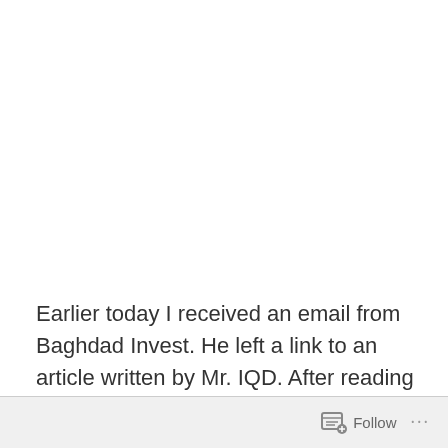Earlier today I received an email from Baghdad Invest. He left a link to an article written by Mr. IQD. After reading Mr. IQDs article I Just had to leave a comment. I came back later in the day only to find that the comment had vanished. It is missing! I don't know what happened but I
Follow ···